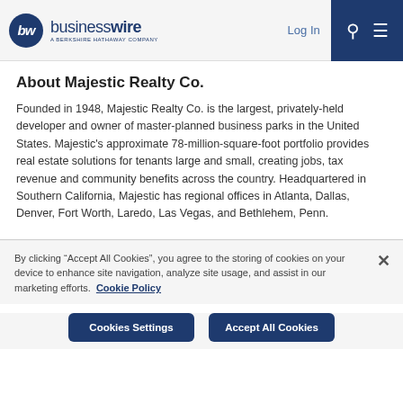businesswire — A Berkshire Hathaway Company | Log In | Sign Up
About Majestic Realty Co.
Founded in 1948, Majestic Realty Co. is the largest, privately-held developer and owner of master-planned business parks in the United States. Majestic's approximate 78-million-square-foot portfolio provides real estate solutions for tenants large and small, creating jobs, tax revenue and community benefits across the country. Headquartered in Southern California, Majestic has regional offices in Atlanta, Dallas, Denver, Fort Worth, Laredo, Las Vegas, and Bethlehem, Penn.
By clicking “Accept All Cookies”, you agree to the storing of cookies on your device to enhance site navigation, analyze site usage, and assist in our marketing efforts. Cookie Policy
Cookies Settings | Accept All Cookies